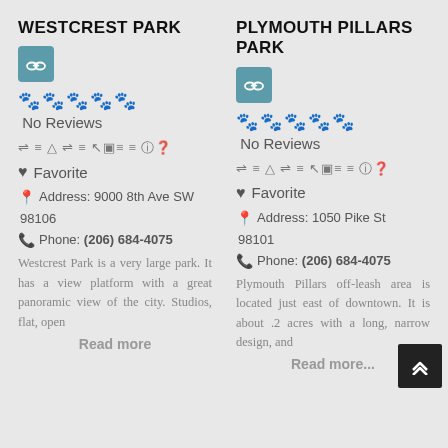WESTCREST PARK
[Figure (illustration): Teal rounded square button with chain/link icon]
🐾 🐾 🐾 🐾 🐾 No Reviews
⇌ ≡ △ ⇌ ≡ ↖▣≡ ≡ ⓘ❓
♥ Favorite
📍 Address: 9000 8th Ave SW 98106
📞 Phone: (206) 684-4075
Westcrest Park is a very large park. It has a view platform with a great panoramic view of the city. Studios, flat, open
Read more
PLYMOUTH PILLARS PARK
[Figure (illustration): Teal rounded square button with chain/link icon]
🐾 🐾 🐾 🐾 🐾 No Reviews
⇌ ≡ △ ⇌ ≡ ↖▣≡ ≡ ⓘ❓
♥ Favorite
📍 Address: 1050 Pike St 98101
📞 Phone: (206) 684-4075
Plymouth Pillars off-leash area is located just east of downtown. It is about .2 acres with a long, narrow design, and
Read more...